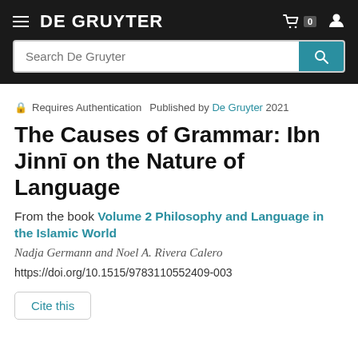DE GRUYTER
Requires Authentication  Published by De Gruyter 2021
The Causes of Grammar: Ibn Jinnī on the Nature of Language
From the book Volume 2 Philosophy and Language in the Islamic World
Nadja Germann and Noel A. Rivera Calero
https://doi.org/10.1515/9783110552409-003
Cite this